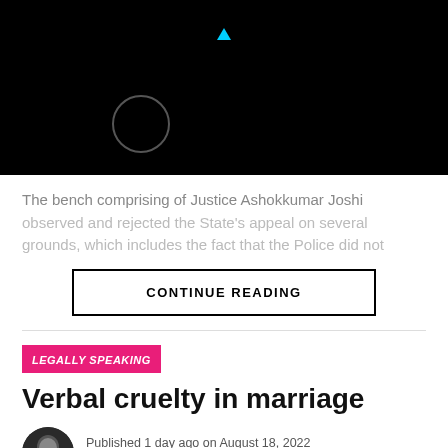[Figure (screenshot): Black video player placeholder with a circular loading spinner and a small cyan play indicator triangle at the top center]
The bench comprising of Justice Ashokkumar Joshi observed and rejected the State's appeal on several grounds, which includes the fact that the Police did not
CONTINUE READING
LEGALLY SPEAKING
Verbal cruelty in marriage
Published 1 day ago on August 18, 2022
By Pinky Anand